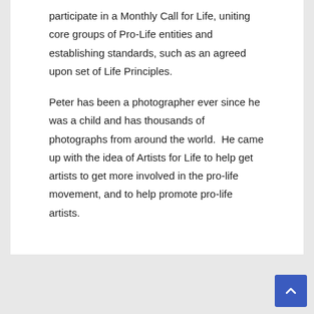participate in a Monthly Call for Life, uniting core groups of Pro-Life entities and establishing standards, such as an agreed upon set of Life Principles.
Peter has been a photographer ever since he was a child and has thousands of photographs from around the world.  He came up with the idea of Artists for Life to help get artists to get more involved in the pro-life movement, and to help promote pro-life artists.